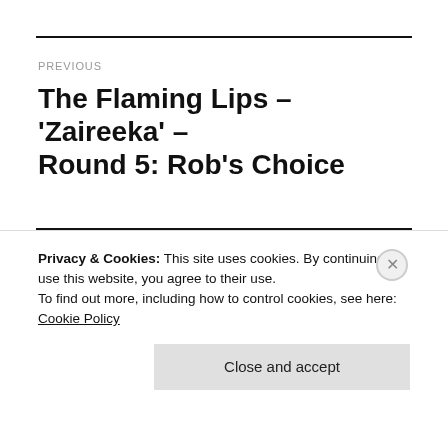PREVIOUS
The Flaming Lips – 'Zaireeka' – Round 5: Rob's Choice
NEXT
Kurt Vile – Smoke Ring For My Halo – Round 5: Tom's Choice
Privacy & Cookies: This site uses cookies. By continuing to use this website, you agree to their use.
To find out more, including how to control cookies, see here:
Cookie Policy
Close and accept